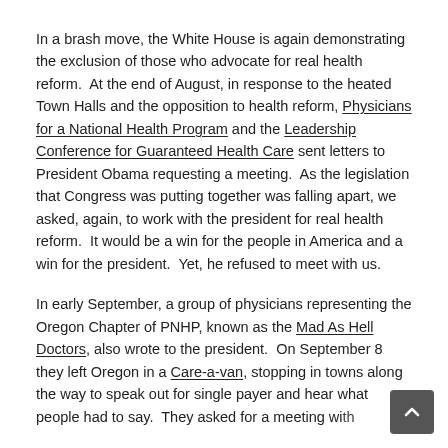In a brash move, the White House is again demonstrating the exclusion of those who advocate for real health reform.  At the end of August, in response to the heated Town Halls and the opposition to health reform, Physicians for a National Health Program and the Leadership Conference for Guaranteed Health Care sent letters to President Obama requesting a meeting.  As the legislation that Congress was putting together was falling apart, we asked, again, to work with the president for real health reform.  It would be a win for the people in America and a win for the president.  Yet, he refused to meet with us.
In early September, a group of physicians representing the Oregon Chapter of PNHP, known as the Mad As Hell Doctors, also wrote to the president.  On September 8 they left Oregon in a Care-a-van, stopping in towns along the way to speak out for single payer and hear what people had to say.  They asked for a meeting with [the president...]